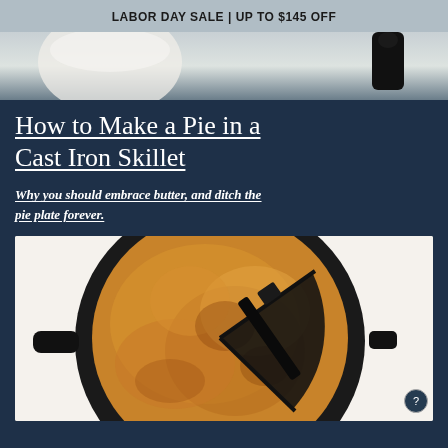LABOR DAY SALE | UP TO $145 OFF
[Figure (photo): Top portion of a cast iron skillet and white bowl on a light background, cropped at top of page]
How to Make a Pie in a Cast Iron Skillet
Why you should embrace butter, and ditch the pie plate forever.
[Figure (photo): Overhead photo of a golden-brown pie baked in a black cast iron skillet, with one slice cut and a dark spatula visible, on a white surface]